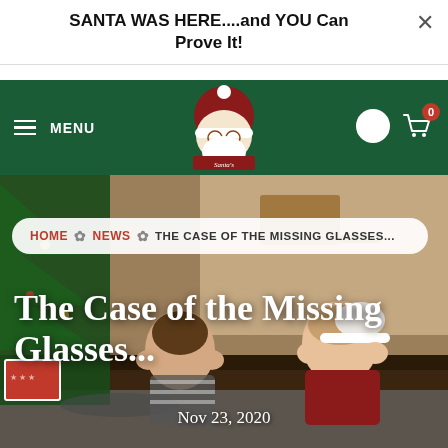SANTA WAS HERE....and YOU Can Prove It!
[Figure (screenshot): Dark green navigation bar with hamburger menu labeled MENU on left, Santa's logo in center, user account icon and shopping cart icon with badge showing 0 on right]
[Figure (photo): Hero image showing two children lying on floor in front of Christmas tree and wrapped gifts, looking thoughtful or surprised]
HOME ✿ NEWS ✿ THE CASE OF THE MISSING GLASSES...
The Case of the Missing Glasses...
Nov 23, 2020